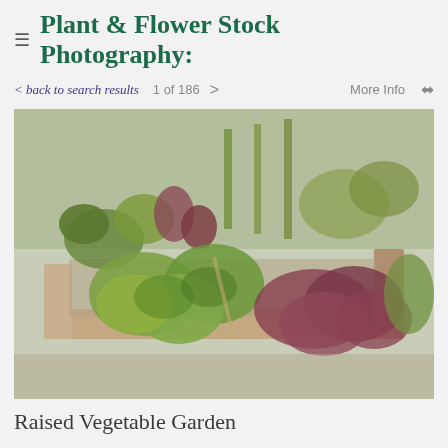Plant & Flower Stock Photography:
< back to search results   1 of 186 >   More Info
[Figure (photo): A raised wooden vegetable garden bed filled with various leafy green plants and red-leafed plants, viewed from above at an angle. Multiple types of vegetables including cabbages, lettuces, beets, and corn in the background.]
Raised Vegetable Garden